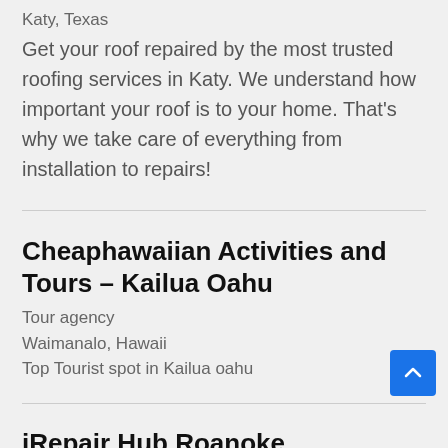Katy, Texas
Get your roof repaired by the most trusted roofing services in Katy. We understand how important your roof is to your home. That’s why we take care of everything from installation to repairs!
Cheaphawaiian Activities and Tours – Kailua Oahu
Tour agency
Waimanalo, Hawaii
Top Tourist spot in Kailua oahu
iRepair Hub Roanoke